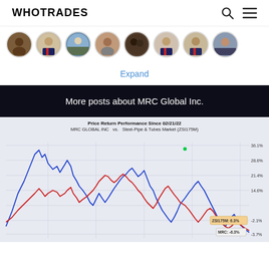WHOTRADES
[Figure (photo): Row of 8 circular avatar profile photos of users on WhoTrades platform]
Expand
More posts about MRC Global Inc.
[Figure (line-chart): Line chart showing price return performance comparison between MRC Global Inc (blue line) and Steel-Pipe & Tubes Market ZSI175M (red line) since 02/21/22. Y-axis shows percentage values: 36.1%, 28.6%, 21.4%, 14.6%, -2.1%, -3.7%. Labels show ZSI175M: 6.3% and MRC: -6.3%]